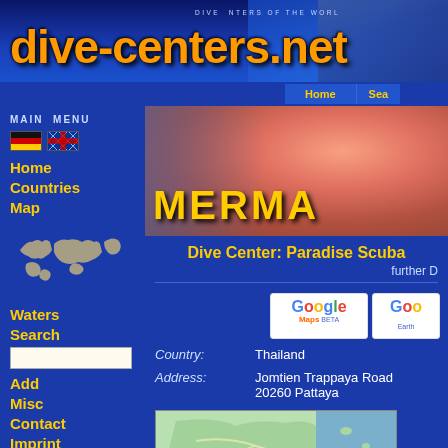[Figure (screenshot): dive-centers.net website header banner with logo and underwater background]
DIVE CENTERS OF THE WORLD
dive-centers.net
Home | Sea
MAIN MENU
Home
Countries
Map
Waters
Search
Add
Misc
Contact
Imprint
Disclaimer
[Figure (photo): Clownfish / Mermaid banner image for the dive center]
Dive Center: Paradise Scuba
further D
[Figure (logo): Google Maps BETA button]
[Figure (logo): Google Earth button]
Country: Thailand
Address: Jomtien Trappaya Road 20260 Pattaya
[Figure (map): Map thumbnail showing Pattaya area in Thailand]